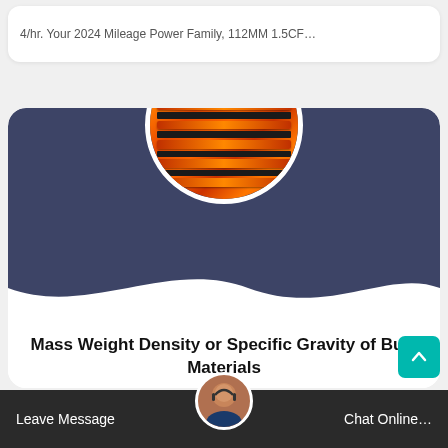4/hr. Your 2024 Mileage Power Family, 112MM 1.5CF...
[Figure (photo): Circular image of stacked orange conveyor rollers/idlers with black ends, on a dark blue card header with wave bottom]
Mass Weight Density or Specific Gravity of Bulk Materials
The mass of over 300 different 'dry' materials listed below. Liquids, oils and woods are also provided a search fa...
[Figure (photo): Chat agent avatar - woman with headset]
Leave Messaged a S...  Chat Online...